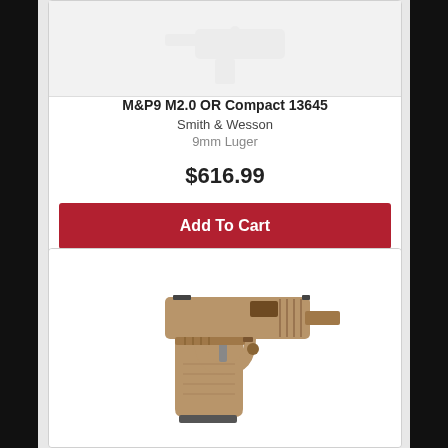[Figure (photo): Partially visible product image of M&P9 M2.0 OR Compact 13645 pistol, faded/placeholder style]
M&P9 M2.0 OR Compact 13645
Smith & Wesson
9mm Luger
$616.99
Add To Cart
[Figure (photo): Smith & Wesson M&P9 M2.0 compact pistol in flat dark earth (FDE/tan) finish, facing left, shown in profile view]